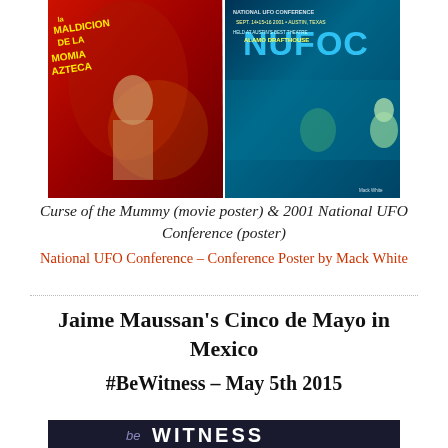[Figure (photo): Two posters side by side: left is 'La Maldicion de la Momia Azteca' (Curse of the Mummy) movie poster with red background; right is the 2001 National UFO Conference (NUFOC) poster with blue/teal background showing alien imagery, held at Alamo Drafthouse, Austin, Texas, Sept 14-15-16 2001, poster by Mack White.]
Curse of the Mummy (movie poster) & 2001 National UFO Conference (poster)
National UFO Conference – Conference Poster by Mack White
Jaime Maussan's Cinco de Mayo in Mexico
#BeWitness – May 5th 2015
[Figure (photo): Banner image showing 'beWITNESS' text on dark background, partially visible at bottom of page.]